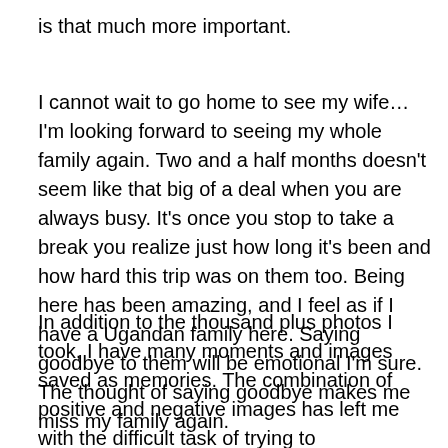is that much more important.
I cannot wait to go home to see my wife…I'm looking forward to seeing my whole family again. Two and a half months doesn't seem like that big of a deal when you are always busy. It's once you stop to take a break you realize just how long it's been and how hard this trip was on them too. Being here has been amazing, and I feel as if I have a Ugandan family here. Saying goodbye to them will be emotional I'm sure. The thought of saying goodbye makes me miss my family again.
In addition to the thousand plus photos I took, I have many moments and images saved as memories. The combination of positive and negative images has left me with the difficult task of trying to contextualize and explain what I have seen, what I have experienced. The crux will